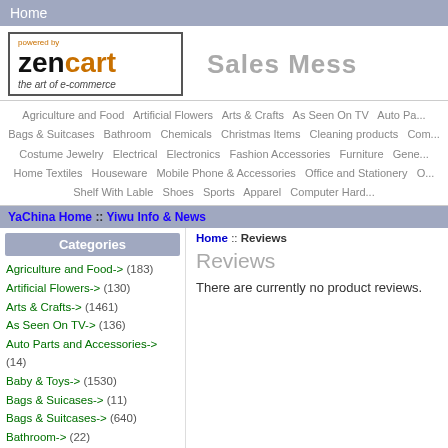Home
[Figure (logo): Zen Cart logo - powered by zencart, the art of e-commerce]
Sales Mess
Agriculture and Food   Artificial Flowers   Arts & Crafts   As Seen On TV   Auto Pa... Bags & Suitcases   Bathroom   Chemicals   Christmas Items   Cleaning products   Com... Costume Jewelry   Electrical   Electronics   Fashion Accessories   Furniture   Gene... Home Textiles   Houseware   Mobile Phone & Accessories   Office and Stationery   O... Shelf With Lable   Shoes   Sports   Apparel   Computer Hard...
YaChina Home :: Yiwu Info & News
Home :: Reviews
Categories
Agriculture and Food-> (183)
Artificial Flowers-> (130)
Arts & Crafts-> (1461)
As Seen On TV-> (136)
Auto Parts and Accessories-> (14)
Baby & Toys-> (1530)
Bags & Suicases-> (11)
Bags & Suitcases-> (640)
Bathroom-> (22)
Chemicals-> (3)
Christmas Items-> (68)
Cleaning products-> (14)
Reviews
There are currently no product reviews.